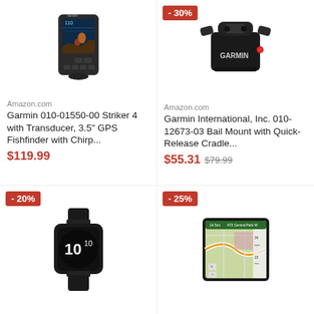[Figure (photo): Garmin Striker 4 fish finder device with color display and transducer]
Amazon.com
Garmin 010-01550-00 Striker 4 with Transducer, 3.5" GPS Fishfinder with Chirp...
$119.99
- 30%
[Figure (photo): Garmin International bail mount with quick-release cradle, black hardware]
Amazon.com
Garmin International, Inc. 010-12673-03 Bail Mount with Quick-Release Cradle...
$55.31
$79.99
- 20%
[Figure (photo): Garmin smartwatch with dark face showing number 10]
- 25%
[Figure (photo): Garmin GPS navigation device with map display showing 473 Central Park W]